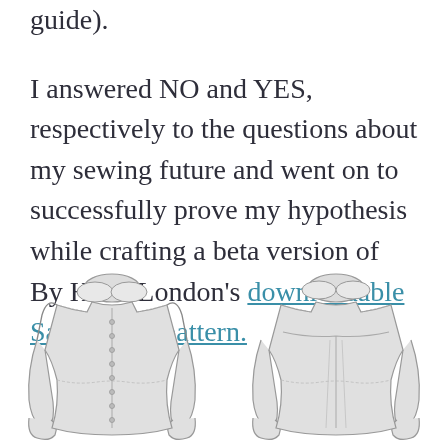guide).
I answered NO and YES, respectively to the questions about my sewing future and went on to successfully prove my hypothesis while crafting a beta version of By Hand London's downloadable Sarah Shirt pattern.
[Figure (illustration): Technical flat sketch of the front view of the Sarah Shirt: a blouse with peter pan collar, button front placket, gathered sleeves, and gathered hemline.]
[Figure (illustration): Technical flat sketch of the back view of the Sarah Shirt: a blouse with peter pan collar, yoke, center back seam, gathered sleeves, and gathered hemline.]